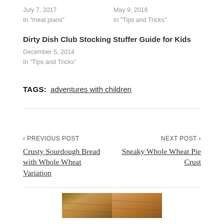July 7, 2017
In "meal plans"
May 9, 2016
In "Tips and Tricks"
Dirty Dish Club Stocking Stuffer Guide for Kids
December 5, 2014
In "Tips and Tricks"
TAGS:  adventures with children
‹ PREVIOUS POST
Crusty Sourdough Bread with Whole Wheat Variation
NEXT POST ›
Sneaky Whole Wheat Pie Crust
[Figure (photo): Photo strip showing bread at bottom of page]